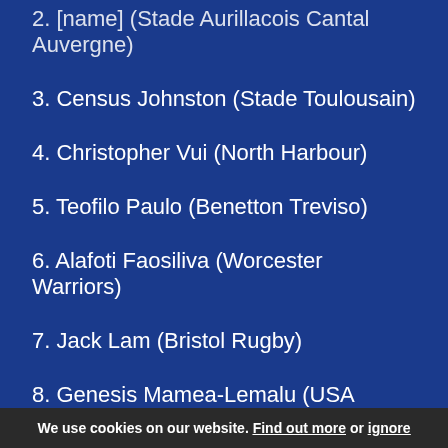2. [name truncated] (Stade Aurillacois Cantal Auvergne)
3. Census Johnston (Stade Toulousain)
4. Christopher Vui (North Harbour)
5. Teofilo Paulo (Benetton Treviso)
6. Alafoti Faosiliva (Worcester Warriors)
7. Jack Lam (Bristol Rugby)
8. Genesis Mamea-Lemalu (USA Perpignan)
Replacements:
16. Elia Elia (University of Canterbury)/Seilala Lam (USO Nevers)
We use cookies on our website. Find out more or ignore